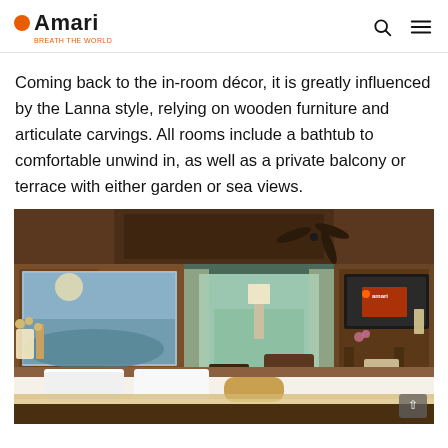Amari
Coming back to the in-room décor, it is greatly influenced by the Lanna style, relying on wooden furniture and articulate carvings. All rooms include a bathtub to comfortable unwind in, as well as a private balcony or terrace with either garden or sea views.
[Figure (photo): Hotel room with Lanna-style wooden décor, large painting on wall, bed with white pillows, ceiling fan, balcony view with curtains, desk area with TV on right side.]